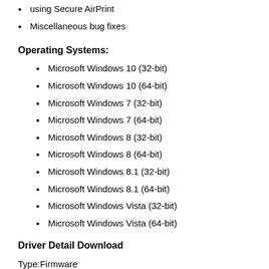using Secure AirPrint
Miscellaneous bug fixes
Operating Systems:
Microsoft Windows 10 (32-bit)
Microsoft Windows 10 (64-bit)
Microsoft Windows 7 (32-bit)
Microsoft Windows 7 (64-bit)
Microsoft Windows 8 (32-bit)
Microsoft Windows 8 (64-bit)
Microsoft Windows 8.1 (32-bit)
Microsoft Windows 8.1 (64-bit)
Microsoft Windows Vista (32-bit)
Microsoft Windows Vista (64-bit)
Driver Detail Download
Type:Firmware
Version:2023B
Release date:Jul 20, 2020
File name:DJ4530_2023B.exe
File Size:(3.6 MB)